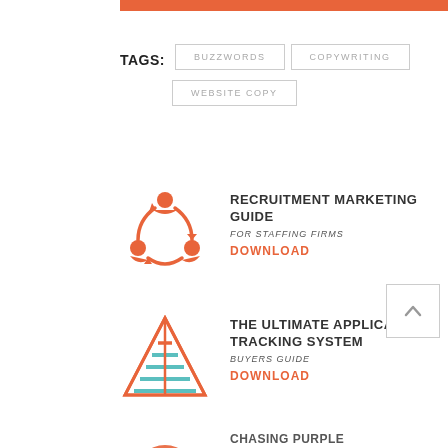TAGS: BUZZWORDS  COPYWRITING  WEBSITE COPY
[Figure (illustration): Recruitment Marketing Guide for Staffing Firms - circular arrows with person icons in orange]
RECRUITMENT MARKETING GUIDE
FOR STAFFING FIRMS
DOWNLOAD
[Figure (illustration): The Ultimate Applicant Tracking System Buyers Guide - pyramid/triangle icon in orange and teal]
THE ULTIMATE APPLICANT TRACKING SYSTEM
BUYERS GUIDE
DOWNLOAD
[Figure (illustration): Chasing Purple Squirrels - partial orange circular icon at bottom]
CHASING PURPLE SQUIRRELS